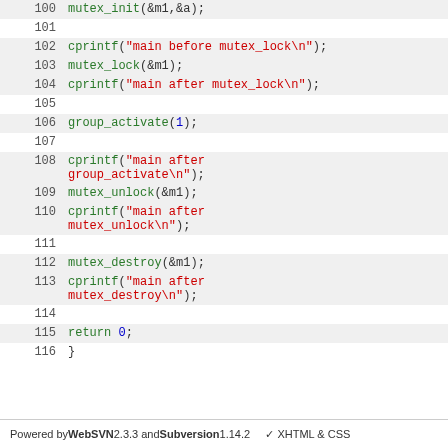[Figure (screenshot): Source code listing showing lines 100-116 of C code with syntax highlighting. Lines include mutex_init, cprintf, mutex_lock, cprintf, group_activate, cprintf, mutex_unlock, cprintf, mutex_destroy, cprintf, return 0, and closing brace.]
Powered by WebSVN 2.3.3 and Subversion 1.14.2   ✓ XHTML & CSS